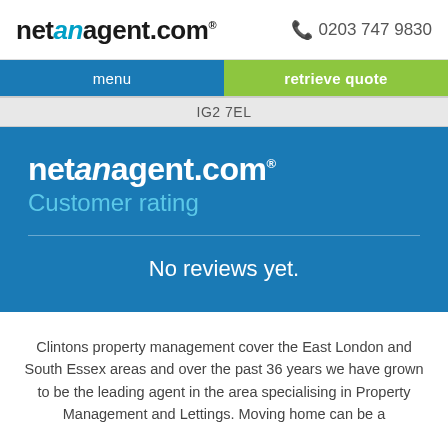netanagent.com® 0203 747 9830
menu | retrieve quote
IG2 7EL
netanagent.com® Customer rating
No reviews yet.
Clintons property management cover the East London and South Essex areas and over the past 36 years we have grown to be the leading agent in the area specialising in Property Management and Lettings. Moving home can be a